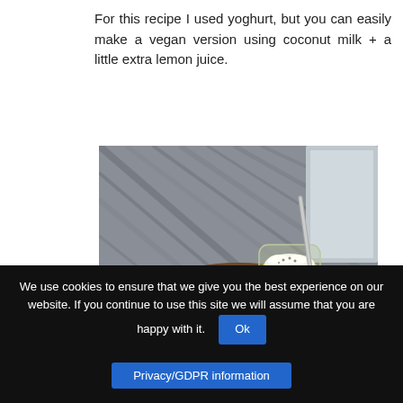For this recipe I used yoghurt, but you can easily make a vegan version using coconut milk + a little extra lemon juice.
[Figure (photo): A yellow smoothie in a glass jar with a metal straw, sitting on a round wooden cutting board alongside a halved orange and a halved lemon, on a grey textured background.]
We use cookies to ensure that we give you the best experience on our website. If you continue to use this site we will assume that you are happy with it. Ok
Privacy/GDPR information